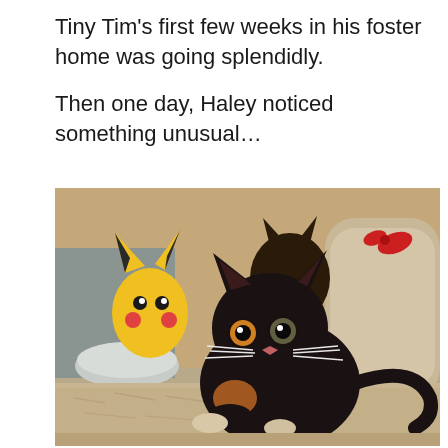Tiny Tim's first few weeks in his foster home was going splendidly.

Then one day, Haley noticed something unusual…
[Figure (photo): A small black kitten with amber and green eyes sitting on a beige fuzzy blanket, with a yellow Pikachu toy and a beige chair cushion in the background.]